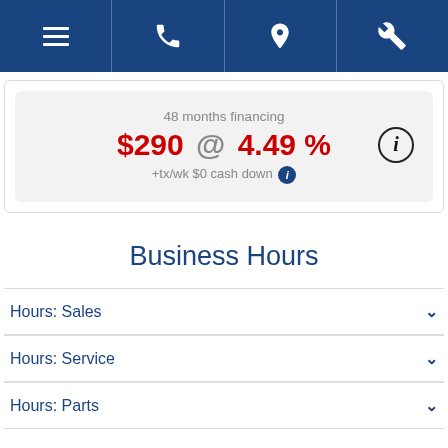Navigation bar with menu, phone, location, and service icons
48 months financing $290 @ 4.49 % +tx/wk $0 cash down
Business Hours
Hours: Sales
Hours: Service
Hours: Parts